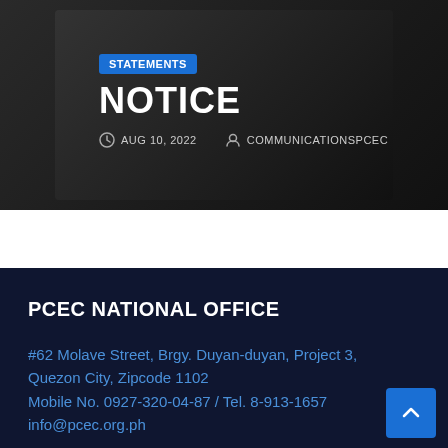STATEMENTS
NOTICE
AUG 10, 2022   COMMUNICATIONSPCEC
PCEC NATIONAL OFFICE
#62 Molave Street, Brgy. Duyan-duyan, Project 3, Quezon City, Zipcode 1102
Mobile No. 0927-320-04-87 / Tel. 8-913-1657
info@pcec.org.ph